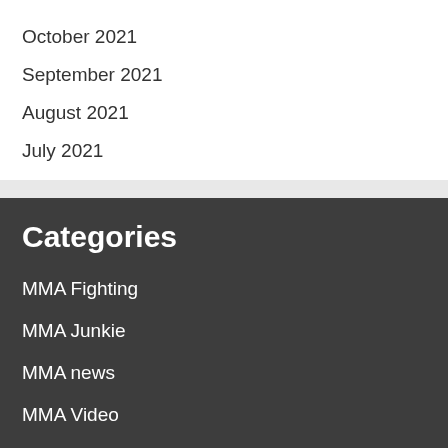October 2021
September 2021
August 2021
July 2021
Categories
MMA Fighting
MMA Junkie
MMA news
MMA Video
The Underground